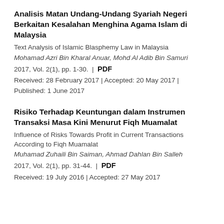Analisis Matan Undang-Undang Syariah Negeri Berkaitan Kesalahan Menghina Agama Islam di Malaysia
Text Analysis of Islamic Blasphemy Law in Malaysia
Mohamad Azri Bin Kharal Anuar, Mohd Al Adib Bin Samuri
2017, Vol. 2(1), pp. 1-30.  |  PDF
Received: 28 February 2017 | Accepted: 20 May 2017 | Published: 1 June 2017
Risiko Terhadap Keuntungan dalam Instrumen Transaksi Masa Kini Menurut Fiqh Muamalat
Influence of Risks Towards Profit in Current Transactions According to Fiqh Muamalat
Muhamad Zuhaili Bin Saiman, Ahmad Dahlan Bin Salleh
2017, Vol. 2(1), pp. 31-44.  |  PDF
Received: 19 July 2016 | Accepted: 27 May 2017